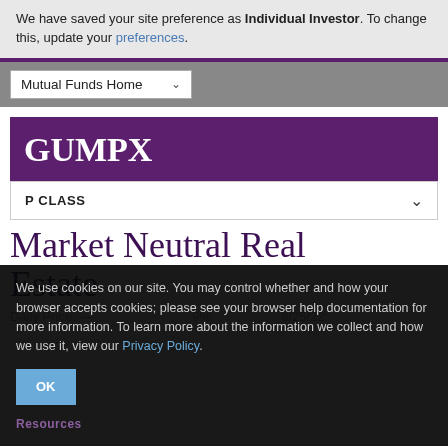We have saved your site preference as Individual Investor. To change this, update your preferences.
Mutual Funds Home
GUMPX
P CLASS
Market Neutral Real Estate
We use cookies on our site. You may control whether and how your browser accepts cookies; please see your browser help documentation for more information. To learn more about the information we collect and how we use it, view our Privacy Policy.
OK
Resources